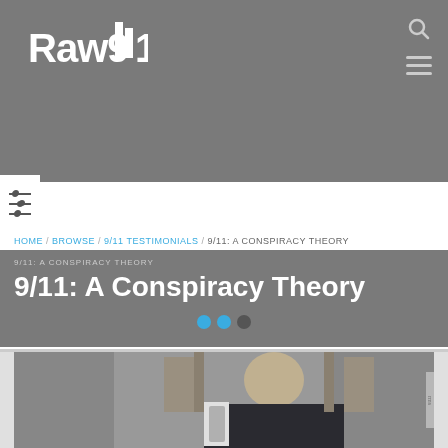Raw911
HOME / BROWSE / 9/11 TESTIMONIALS / 9/11: A CONSPIRACY THEORY
9/11: A Conspiracy Theory
[Figure (screenshot): Video thumbnail showing a man in a suit at a podium, screenshot from a video titled 9/11: A Conspiracy Theory]